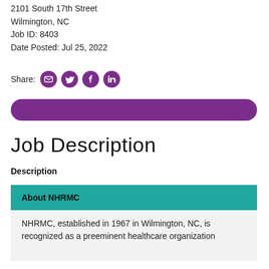2101 South 17th Street
Wilmington, NC
Job ID: 8403
Date Posted: Jul 25, 2022
Share:
[Figure (other): Purple circular social sharing icons: email, Twitter, Facebook, LinkedIn]
[Figure (other): Purple rounded rectangle Apply button]
Job Description
Description
About NHRMC
NHRMC, established in 1967 in Wilmington, NC, is recognized as a preeminent healthcare organization